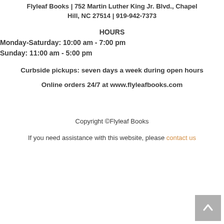Flyleaf Books | 752 Martin Luther King Jr. Blvd., Chapel Hill, NC 27514 | 919-942-7373
HOURS
Monday-Saturday: 10:00 am - 7:00 pm
Sunday: 11:00 am - 5:00 pm
Curbside pickups: seven days a week during open hours
Online orders 24/7 at www.flyleafbooks.com
Copyright ©Flyleaf Books
If you need assistance with this website, please contact us